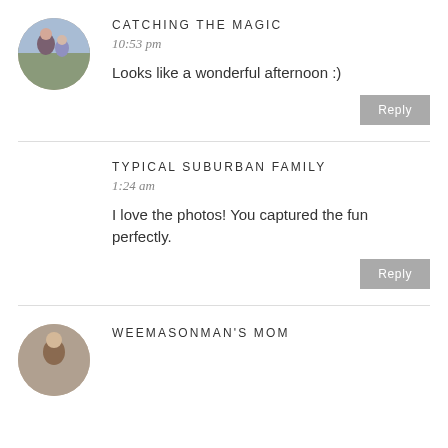[Figure (photo): Circular avatar photo of a woman and child outdoors]
CATCHING THE MAGIC
10:53 pm
Looks like a wonderful afternoon :)
Reply
TYPICAL SUBURBAN FAMILY
1:24 am
I love the photos! You captured the fun perfectly.
Reply
[Figure (photo): Circular avatar photo of a person]
WEEMASONMAN'S MOM